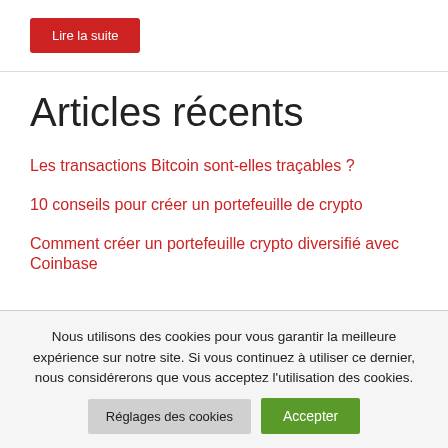Lire la suite
Articles récents
Les transactions Bitcoin sont-elles traçables ?
10 conseils pour créer un portefeuille de crypto
Comment créer un portefeuille crypto diversifié avec Coinbase
Nous utilisons des cookies pour vous garantir la meilleure expérience sur notre site. Si vous continuez à utiliser ce dernier, nous considérerons que vous acceptez l'utilisation des cookies.
Réglages des cookies
Accepter